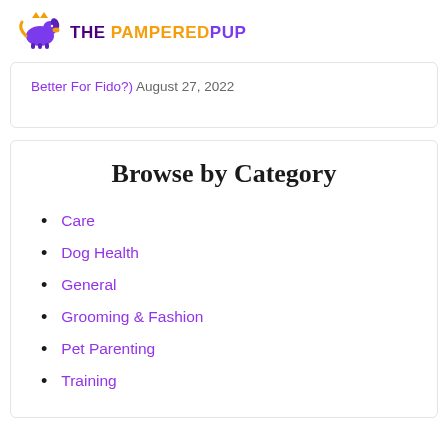THE PAMPERED PUP
Better For Fido?) August 27, 2022
Browse by Category
Care
Dog Health
General
Grooming & Fashion
Pet Parenting
Training